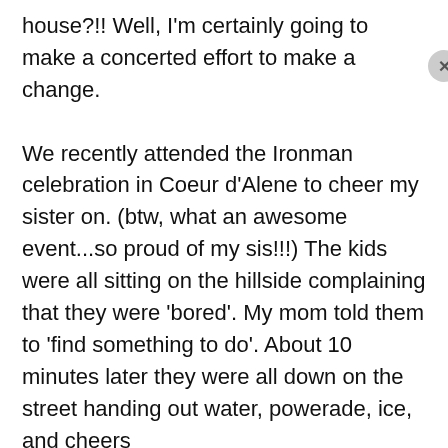house?!! Well, I'm certainly going to make a concerted effort to make a change.

We recently attended the Ironman celebration in Coeur d'Alene to cheer my sister on. (btw, what an awesome event...so proud of my sis!!!) The kids were all sitting on the hillside complaining that they were 'bored'. My mom told them to 'find something to do'. About 10 minutes later they were all down on the street handing out water, powerade, ice, and cheers
Privacy & Cookies: This site uses cookies. By continuing to use this website, you agree to their use.
To find out more, including how to control cookies, see here: Cookie Policy
Close and accept